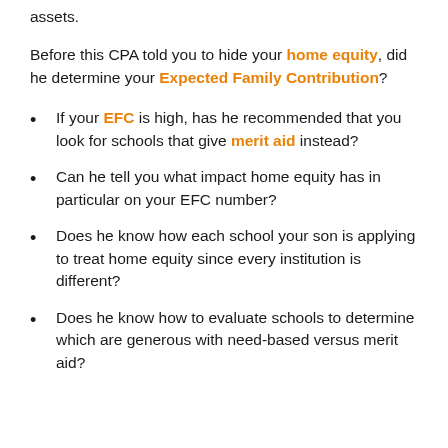assets.
Before this CPA told you to hide your home equity, did he determine your Expected Family Contribution?
If your EFC is high, has he recommended that you look for schools that give merit aid instead?
Can he tell you what impact home equity has in particular on your EFC number?
Does he know how each school your son is applying to treat home equity since every institution is different?
Does he know how to evaluate schools to determine which are generous with need-based versus merit aid?